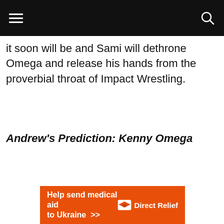it soon will be and Sami will dethrone Omega and release his hands from the proverbial throat of Impact Wrestling.
Andrew's Prediction: Kenny Omega
[Figure (infographic): Orange Direct Relief advertisement banner: 'Help send medical aid to Ukraine >>' with Direct Relief logo on right side]